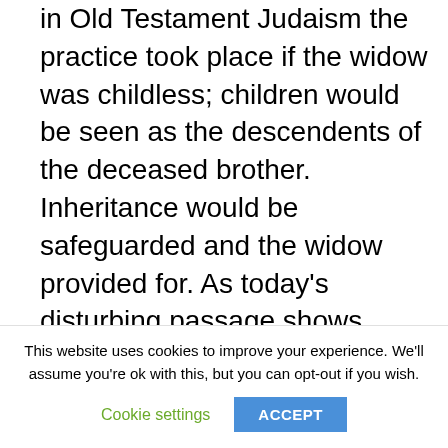in Old Testament Judaism the practice took place if the widow was childless; children would be seen as the descendents of the deceased brother. Inheritance would be safeguarded and the widow provided for. As today's disturbing passage shows, however, it was not a practice that was popular with surviving brothers!
Judah may have been a tad superstitious as Tamar had been married to two of his sons – both of whom died. One can, therefore,
This website uses cookies to improve your experience. We'll assume you're ok with this, but you can opt-out if you wish.